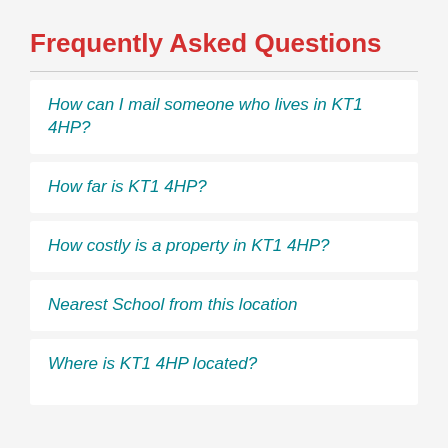Frequently Asked Questions
How can I mail someone who lives in KT1 4HP?
How far is KT1 4HP?
How costly is a property in KT1 4HP?
Nearest School from this location
Where is KT1 4HP located?